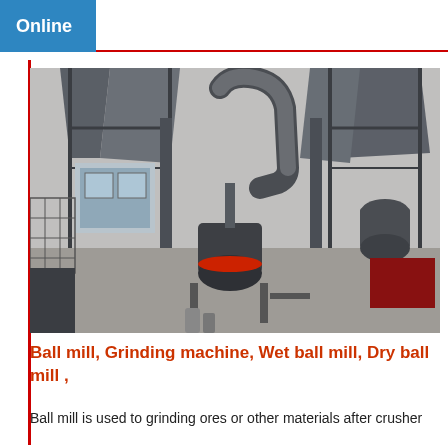Online
[Figure (photo): Industrial ball mill and grinding equipment installed outdoors at a processing facility, showing large cylindrical machinery, pipes, metal structures, silos, and a small building in the background.]
Ball mill, Grinding machine, Wet ball mill, Dry ball mill ,
Ball mill is used to grinding ores or other materials after crusher